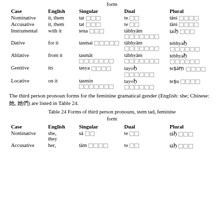form
| Case | English | Singular | Dual | Plural |
| --- | --- | --- | --- | --- |
| Nominative | it, them | tat □□□ | te □□ | tāni □□□□ |
| Accusative | it, them | tat □□□ | te □□ | tāni □□□□ |
| Instrumental | with it | tena □□□ | tābhyām □□□□□□□ | taiḥ □□□ |
| Dative | for it | tasmai □□□□□ | tābhyām □□□□□□□ | tebhyaḥ □□□□□□ |
| Ablative | from it | tasmāt □□□□□□□ | tābhyām □□□□□□□ | tebhyaḥ □□□□□□ |
| Genitive | its | tasya □□□□ | tayoḥ □□□□□□ | teṣāṃ □□□□ |
| Locative | on it | tasmin □□□□□□□ | tayoḥ □□□□□□ | teṣu □□□□ |
The third person pronoun forms for the feminine gramatical gender (English: she; Chinese: 她, 她們) are listed in Table 24.
Table 24 Forms of third person pronouns, stem tad, feminine form
| Case | English | Singular | Dual | Plural |
| --- | --- | --- | --- | --- |
| Nominative | she, they | sā □□ | te □□ | tāḥ □□□ |
| Accusative | her, | tām □□□□ | te □□ | tāḥ □□□ |